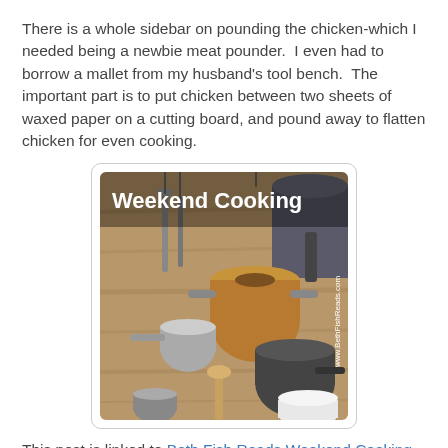There is a whole sidebar on pounding the chicken-which I needed being a newbie meat pounder.  I even had to borrow a mallet from my husband's tool bench.  The important part is to put chicken between two sheets of waxed paper on a cutting board, and pound away to flatten chicken for even cooking.
[Figure (photo): Square image with rounded corners showing various cooking pots, pans, and utensils hanging on a wooden surface. Bold white text 'Weekend Cooking' overlaid at the top left. Vertical text along right edge reads 'www.BethFishReads.com'.]
This post is linked to Beth Fish Reads Weekend Cooking meme.  Click her link to find many more food-related posts.  I love the new look!  Happy healthy cooking!